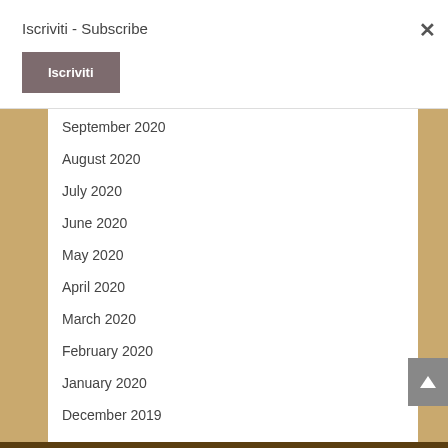Iscriviti - Subscribe
Iscriviti
September 2020
August 2020
July 2020
June 2020
May 2020
April 2020
March 2020
February 2020
January 2020
December 2019